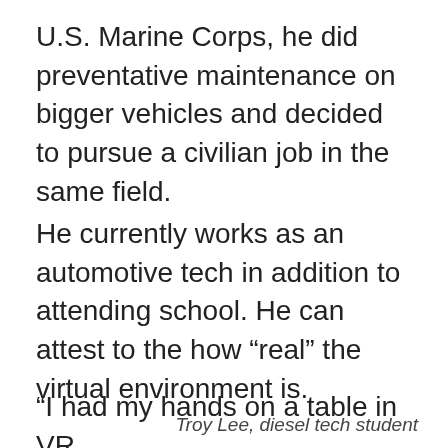U.S. Marine Corps, he did preventative maintenance on bigger vehicles and decided to pursue a civilian job in the same field.
He currently works as an automotive tech in addition to attending school. He can attest to the how “real” the virtual environment is.
“I had my hands on a table in VR
Troy Lee, diesel tech student